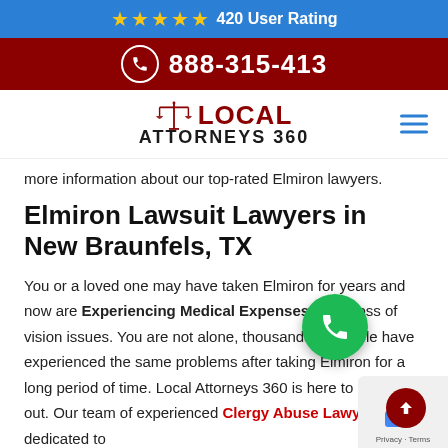★★★★★ 420 User Rating
888-315-413
[Figure (logo): Local Attorneys 360 logo with scales of justice icon]
more information about our top-rated Elmiron lawyers.
Elmiron Lawsuit Lawyers in New Braunfels, TX
You or a loved one may have taken Elmiron for years and now are Experiencing Medical Expenses, pain, loss of vision issues. You are not alone, thousands of people have experienced the same problems after taking Elmiron for a long period of time. Local Attorneys 360 is here to help you out. Our team of experienced Clergy Abuse Lawyers is dedicated to